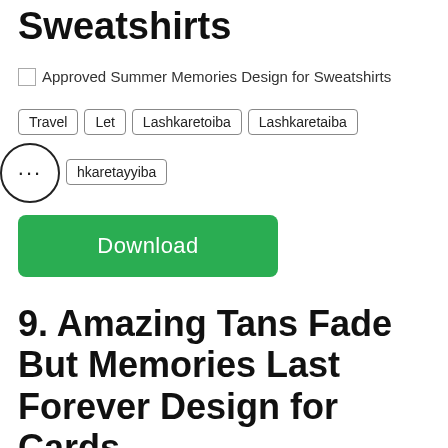Sweatshirts
[Figure (photo): Approved Summer Memories Design for Sweatshirts - broken image placeholder]
Travel
Let
Lashkaretoiba
Lashkaretaiba
hkaretayyiba
Download
9. Amazing Tans Fade But Memories Last Forever Design for Cards